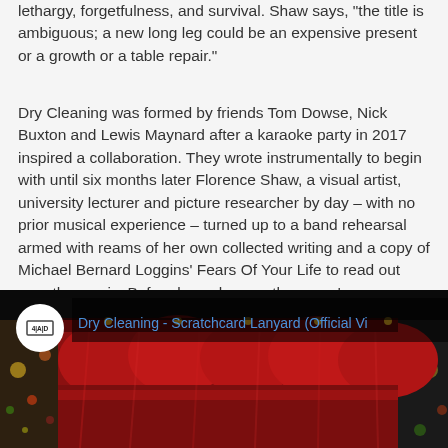lethargy, forgetfulness, and survival. Shaw says, "the title is ambiguous; a new long leg could be an expensive present or a growth or a table repair."
Dry Cleaning was formed by friends Tom Dowse, Nick Buxton and Lewis Maynard after a karaoke party in 2017 inspired a collaboration. They wrote instrumentally to begin with until six months later Florence Shaw, a visual artist, university lecturer and picture researcher by day – with no prior musical experience – turned up to a band rehearsal armed with reams of her own collected writing and a copy of Michael Bernard Loggins' Fears Of Your Life to read out over the music. Before long she was the group's frontperson, contributing words of her own, and serving as the perfect foil to the band's music.
[Figure (screenshot): YouTube video thumbnail showing 'Dry Cleaning - Scratchcard Lanyard (Official Vi...' with a red curtain stage backdrop and a circular channel logo]